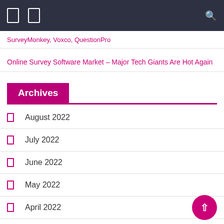[navigation bar with icons]
SurveyMonkey, Voxco, QuestionPro
Online Survey Software Market – Major Tech Giants Are Hot Again
Archives
August 2022
July 2022
June 2022
May 2022
April 2022
March 2022